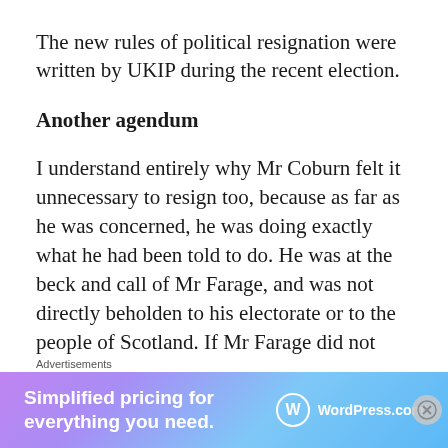The new rules of political resignation were written by UKIP during the recent election.
Another agendum
I understand entirely why Mr Coburn felt it unnecessary to resign too, because as far as he was concerned, he was doing exactly what he had been told to do. He was at the beck and call of Mr Farage, and was not directly beholden to his electorate or to the people of Scotland. If Mr Farage did not feel he had crossed a red line
Advertisements
[Figure (other): WordPress.com advertisement banner with text 'Simplified pricing for everything you need.']